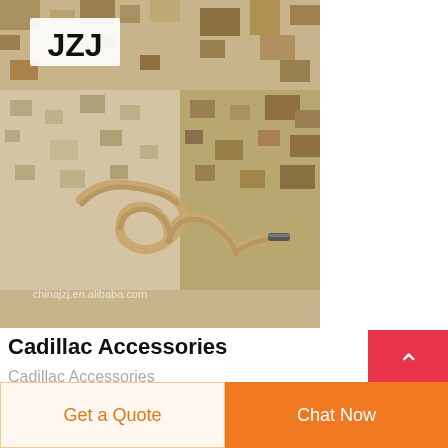[Figure (photo): Close-up photo of a sand/desert camouflage pattern fabric with a braided tan rope/drawstring and metal aglet tip. JZJ logo visible in top-left corner. Watermark reads chinajzj.en.alibaba.com]
Cadillac Accessories
Cadillac Accessories